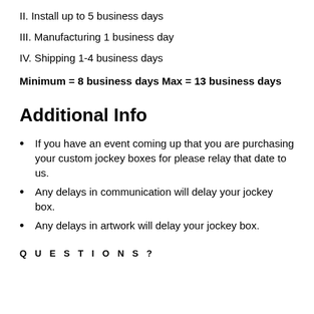II. Install up to 5 business days
III. Manufacturing 1 business day
IV. Shipping 1-4 business days
Minimum = 8 business days Max = 13 business days
Additional Info
If you have an event coming up that you are purchasing your custom jockey boxes for please relay that date to us.
Any delays in communication will delay your jockey box.
Any delays in artwork will delay your jockey box.
QUESTIONS?